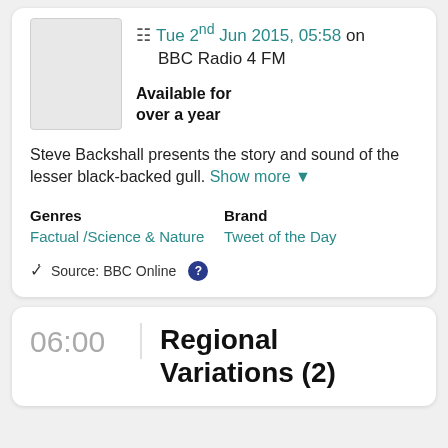Tue 2nd Jun 2015, 05:58 on BBC Radio 4 FM
Available for over a year
Steve Backshall presents the story and sound of the lesser black-backed gull. Show more
Genres
Factual / Science & Nature
Brand
Tweet of the Day
Source: BBC Online
06:00
Regional Variations (2)